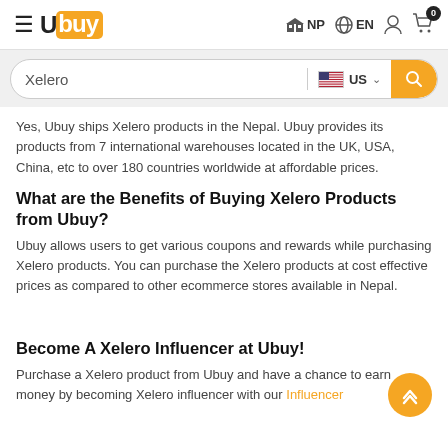Ubuy NP EN [cart: 0]
[Figure (screenshot): Ubuy e-commerce website header with hamburger menu, Ubuy logo, NP country selector, EN language selector, user icon, and cart icon with badge 0]
[Figure (screenshot): Search bar with text 'Xelero', US flag region selector with dropdown chevron, and orange search button with magnifier icon]
Yes, Ubuy ships Xelero products in the Nepal. Ubuy provides its products from 7 international warehouses located in the UK, USA, China, etc to over 180 countries worldwide at affordable prices.
What are the Benefits of Buying Xelero Products from Ubuy?
Ubuy allows users to get various coupons and rewards while purchasing Xelero products. You can purchase the Xelero products at cost effective prices as compared to other ecommerce stores available in Nepal.
Become A Xelero Influencer at Ubuy!
Purchase a Xelero product from Ubuy and have a chance to earn money by becoming Xelero influencer with our Influencer